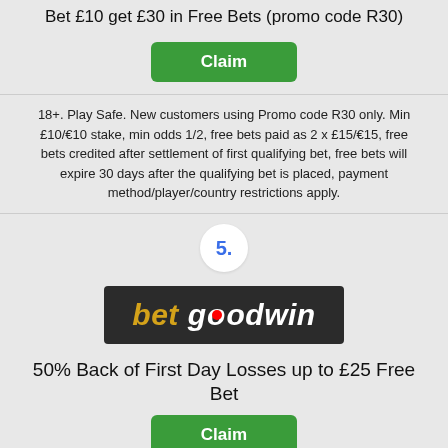Bet £10 get £30 in Free Bets (promo code R30)
[Figure (other): Green Claim button]
18+. Play Safe. New customers using Promo code R30 only. Min £10/€10 stake, min odds 1/2, free bets paid as 2 x £15/€15, free bets credited after settlement of first qualifying bet, free bets will expire 30 days after the qualifying bet is placed, payment method/player/country restrictions apply.
5.
[Figure (logo): betgoodwin logo on dark background]
50% Back of First Day Losses up to £25 Free Bet
[Figure (other): Green Claim button]
18+. New customers only. Terms and conditions apply. Begambleaware.